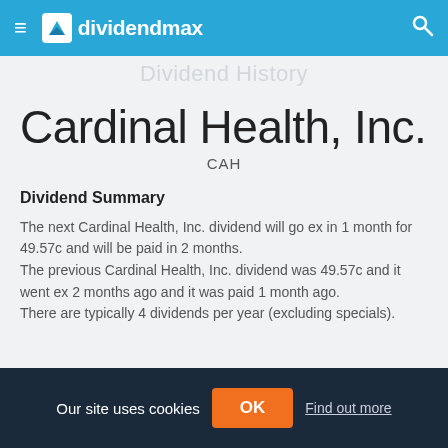dividendmax (navigation bar)
Cardinal Health, Inc.
CAH
Dividend Summary
The next Cardinal Health, Inc. dividend will go ex in 1 month for 49.57c and will be paid in 2 months. The previous Cardinal Health, Inc. dividend was 49.57c and it went ex 2 months ago and it was paid 1 month ago. There are typically 4 dividends per year (excluding specials).
Our site uses cookies  OK  Find out more